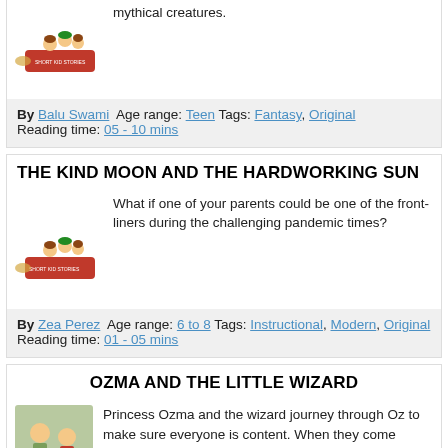[Figure (illustration): Kids riding on a flying book, Short Kid Stories logo]
mythical creatures.
By Balu Swami  Age range: Teen Tags: Fantasy, Original Reading time: 05 - 10 mins
THE KIND MOON AND THE HARDWORKING SUN
[Figure (illustration): Kids riding on a flying book, Short Kid Stories logo]
What if one of your parents could be one of the front-liners during the challenging pandemic times?
By Zea Perez  Age range: 6 to 8 Tags: Instructional, Modern, Original Reading time: 01 - 05 mins
OZMA AND THE LITTLE WIZARD
[Figure (illustration): Fantasy illustration of Princess Ozma and wizard characters]
Princess Ozma and the wizard journey through Oz to make sure everyone is content. When they come across three nasty imps, they have their hands full to deal with them.